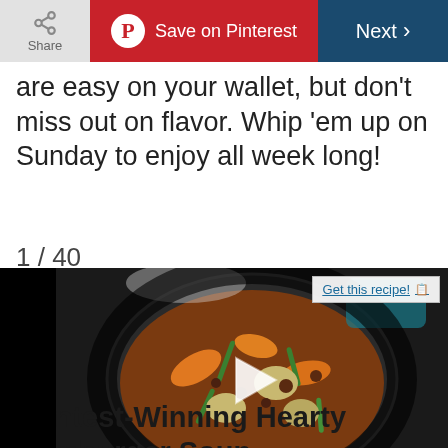Share | Save on Pinterest | Next >
are easy on your wallet, but don't miss out on flavor. Whip 'em up on Sunday to enjoy all week long!
1 / 40
[Figure (photo): A pot of hamburger soup with vegetables including carrots, green beans, and potatoes, with a video play button overlay and a 'Get this recipe!' button in the top right corner.]
Contest-Winning Hearty Hamburger Soup